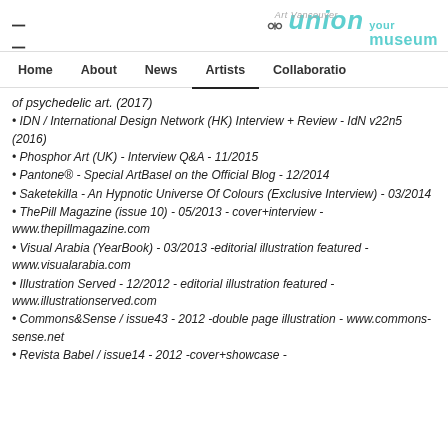union your museum
Home | About | News | Artists | Collaboration
of psychedelic art. (2017)
• IDN / International Design Network (HK) Interview + Review - IdN v22n5 (2016)
• Phosphor Art (UK) - Interview Q&A - 11/2015
• Pantone® - Special ArtBasel on the Official Blog - 12/2014
• Saketekilla - An Hypnotic Universe Of Colours (Exclusive Interview) - 03/2014
• ThePill Magazine (issue 10) - 05/2013 - cover+interview - www.thepillmagazine.com
• Visual Arabia (YearBook) - 03/2013 -editorial illustration featured - www.visualarabia.com
• Illustration Served - 12/2012 - editorial illustration featured - www.illustrationserved.com
• Commons&Sense / issue43 - 2012 -double page illustration - www.commons-sense.net
• Revista Babel / issue14 - 2012 -cover+showcase -